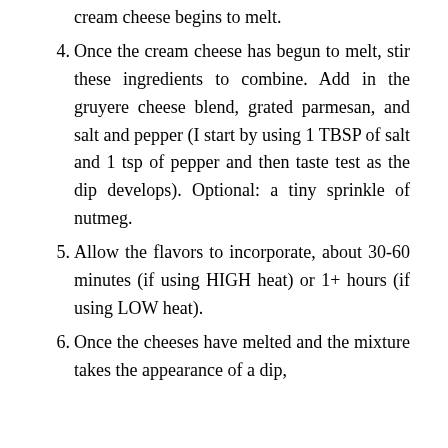cream cheese begins to melt.
4. Once the cream cheese has begun to melt, stir these ingredients to combine. Add in the gruyere cheese blend, grated parmesan, and salt and pepper (I start by using 1 TBSP of salt and 1 tsp of pepper and then taste test as the dip develops). Optional: a tiny sprinkle of nutmeg.
5. Allow the flavors to incorporate, about 30-60 minutes (if using HIGH heat) or 1+ hours (if using LOW heat).
6. Once the cheeses have melted and the mixture takes the appearance of a dip,